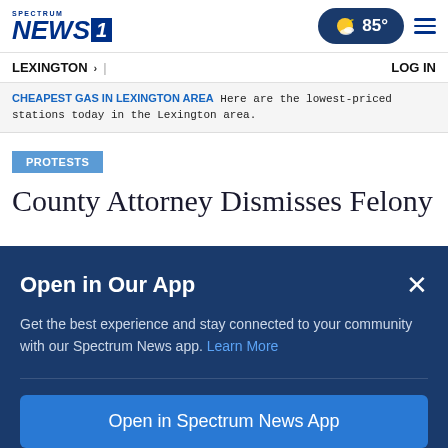Spectrum NEWS1 | 85° | Menu
LEXINGTON > | LOG IN
CHEAPEST GAS IN LEXINGTON AREA Here are the lowest-priced stations today in the Lexington area.
PROTESTS
County Attorney Dismisses Felony
Open in Our App
Get the best experience and stay connected to your community with our Spectrum News app. Learn More
Open in Spectrum News App
Continue in Browser